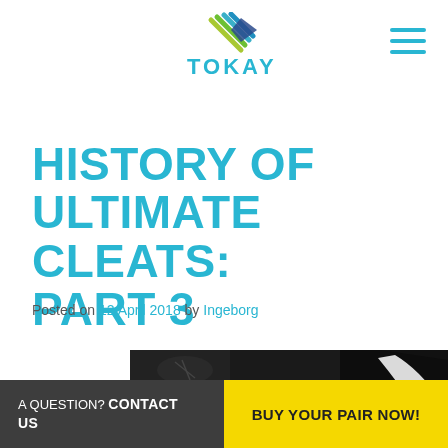[Figure (logo): Tokay brand logo with colorful swoosh lines and 'TOKAY' text in teal]
[Figure (other): Hamburger menu icon with three teal horizontal lines]
HISTORY OF ULTIMATE CLEATS: PART 3
Posted on 12 April 2018 by Ingeborg
[Figure (photo): Photo of black athletic cleats/shoes, partially visible at bottom of page]
A QUESTION? CONTACT US   BUY YOUR PAIR NOW!